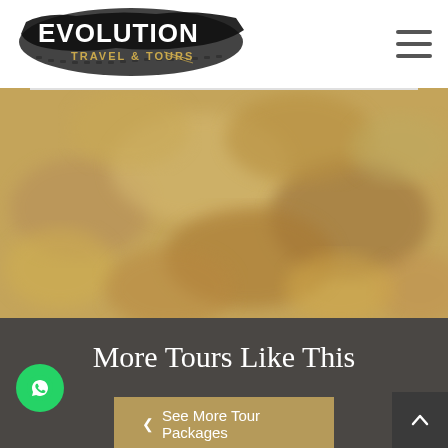[Figure (logo): Evolution Travel & Tours logo with tire track brush stroke background, white bold text EVOLUTION and gold text TRAVEL & TOURS]
[Figure (photo): Blurred sandy/rocky terrain texture in tan and beige tones, likely desert landscape]
More Tours Like This
[Figure (other): See More Tour Packages button in tan/gold color with left chevron arrow]
[Figure (other): Green WhatsApp circular button with phone/message icon, bottom left]
[Figure (other): Dark scroll-to-top button with upward arrow, bottom right]